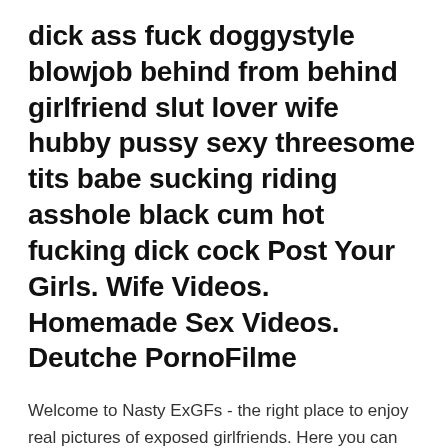dick ass fuck doggystyle blowjob behind from behind girlfriend slut lover wife hubby pussy sexy threesome tits babe sucking riding asshole black cum hot fucking dick cock Post Your Girls. Wife Videos. Homemade Sex Videos. Deutche PornoFilme
Welcome to Nasty ExGFs - the right place to enjoy real pictures of exposed girlfriends. Here you can find everything from nude girls self-shot portraits and the hottest ExGFs showing their big boobs selfies for the first time :) but we have also the best archives of leaked photos of real amateur couples fucking and busty ex-girlfriend sex revenge pictures. Rush Limbaugh says cancer treatment 'kicking my ass' May 27, 2020 Omarion Ft. Chris Brown & Jhene Aiko - Post To Be Feb 17, 2015